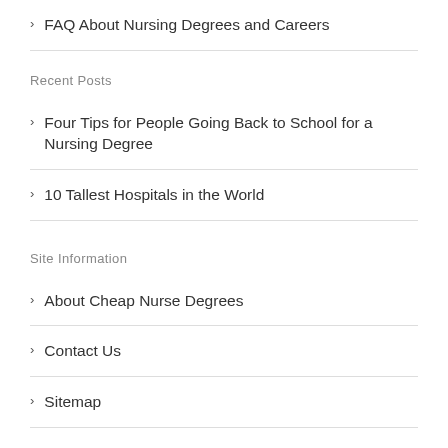FAQ About Nursing Degrees and Careers
Recent Posts
Four Tips for People Going Back to School for a Nursing Degree
10 Tallest Hospitals in the World
Site Information
About Cheap Nurse Degrees
Contact Us
Sitemap